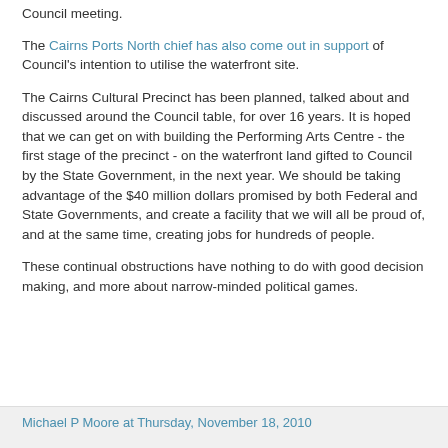Council meeting.
The Cairns Ports North chief has also come out in support of Council's intention to utilise the waterfront site.
The Cairns Cultural Precinct has been planned, talked about and discussed around the Council table, for over 16 years. It is hoped that we can get on with building the Performing Arts Centre - the first stage of the precinct - on the waterfront land gifted to Council by the State Government, in the next year. We should be taking advantage of the $40 million dollars promised by both Federal and State Governments, and create a facility that we will all be proud of, and at the same time, creating jobs for hundreds of people.
These continual obstructions have nothing to do with good decision making, and more about narrow-minded political games.
Michael P Moore at Thursday, November 18, 2010